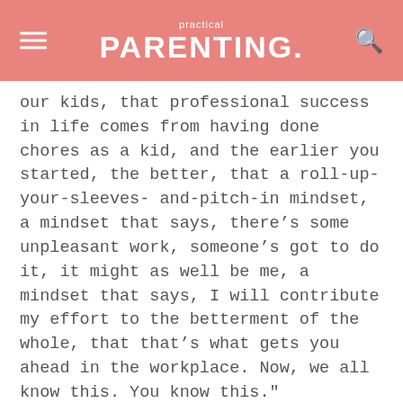practical PARENTING.
our kids, that professional success in life comes from having done chores as a kid, and the earlier you started, the better, that a roll-up-your-sleeves- and-pitch-in mindset, a mindset that says, there’s some unpleasant work, someone’s got to do it, it might as well be me, a mindset that says, I will contribute my effort to the betterment of the whole, that that’s what gets you ahead in the workplace. Now, we all know this. You know this."
2. They teach their children how to be